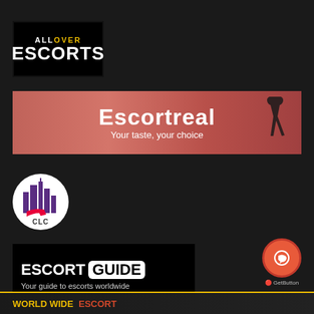[Figure (logo): AllOver Escorts logo: black background with 'ALLOVER' in white small caps (with 'OVER' in yellow) above 'ESCORTS' in large white bold text]
[Figure (logo): Escortreal banner: pink-red gradient background with 'Escortreal' in large white bold text and 'Your taste, your choice' subtitle, silhouette figure on right]
[Figure (logo): CLC circular logo: white circle with purple cityscape/skyline icon and high heel shoe, 'CLC' text at bottom]
[Figure (logo): Escort Guide banner: black background with 'ESCORT GUIDE' text (GUIDE in white box) and 'Your guide to escorts worldwide' subtitle]
[Figure (logo): GetButton widget: coral/orange circular chat button with arrow icon, 'GetButton' label below]
[Figure (logo): World Wide ESCORT partial banner at bottom with yellow/orange text on dark background]